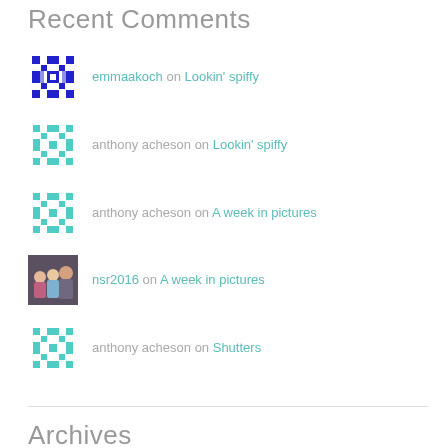Recent Comments
emmaakoch on Lookin' spiffy
anthony acheson on Lookin' spiffy
anthony acheson on A week in pictures
nsr2016 on A week in pictures
anthony acheson on Shutters
Archives